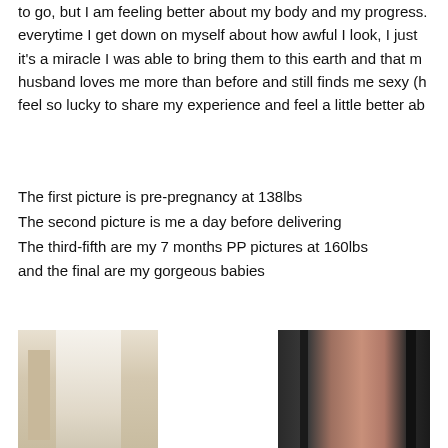to go, but I am feeling better about my body and my progress. everytime I get down on myself about how awful I look, I just it's a miracle I was able to bring them to this earth and that m husband loves me more than before and still finds me sexy (h feel so lucky to share my experience and feel a little better ab
The first picture is pre-pregnancy at 138lbs
The second picture is me a day before delivering
The third-fifth are my 7 months PP pictures at 160lbs
and the final are my gorgeous babies
[Figure (photo): Photo of a woman in a white fitted dress, pre-pregnancy at 138lbs]
[Figure (photo): Photo of a pregnant belly side view, taken a day before delivering]